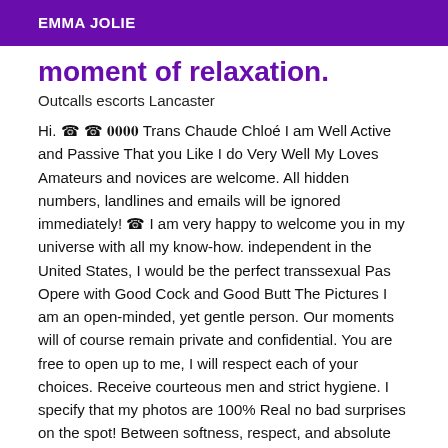EMMA JOLIE
moment of relaxation.
Outcalls escorts Lancaster
Hi. ☎ ☎ 𝟎𝟎𝟎𝟎 Trans Chaude Chloé I am Well Active and Passive That you Like I do Very Well My Loves Amateurs and novices are welcome. All hidden numbers, landlines and emails will be ignored immediately! ☎ I am very happy to welcome you in my universe with all my know-how. independent in the United States, I would be the perfect transsexual Pas Opere with Good Cock and Good Butt The Pictures I am an open-minded, yet gentle person. Our moments will of course remain private and confidential. You are free to open up to me, I will respect each of your choices. Receive courteous men and strict hygiene. I specify that my photos are 100% Real no bad surprises on the spot! Between softness, respect, and absolute discretion. You will discover a true experience of the third kind of Brazil,